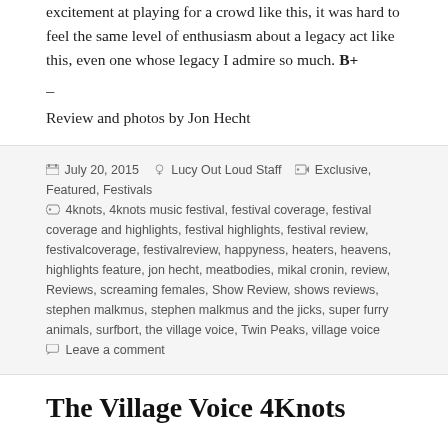excitement at playing for a crowd like this, it was hard to feel the same level of enthusiasm about a legacy act like this, even one whose legacy I admire so much. B+
–
Review and photos by Jon Hecht
July 20, 2015   Lucy Out Loud Staff   Exclusive, Featured, Festivals   4knots, 4knots music festival, festival coverage, festival coverage and highlights, festival highlights, festival review, festivalcoverage, festivalreview, happyness, heaters, heavens, highlights feature, jon hecht, meatbodies, mikal cronin, review, Reviews, screaming females, Show Review, shows reviews, stephen malkmus, stephen malkmus and the jicks, super furry animals, surfbort, the village voice, Twin Peaks, village voice   Leave a comment
The Village Voice 4Knots